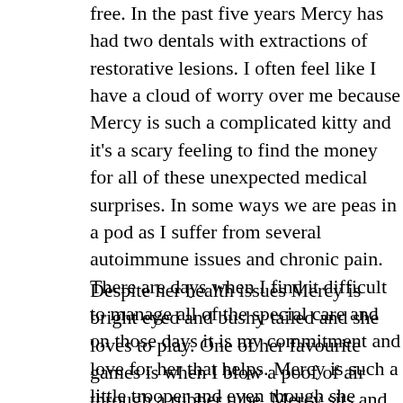free. In the past five years Mercy has had two dentals with extractions of restorative lesions. I often feel like I have a cloud of worry over me because Mercy is such a complicated kitty and it's a scary feeling to find the money for all of these unexpected medical surprises. In some ways we are peas in a pod as I suffer from several autoimmune issues and chronic pain. There are days when I find it difficult to manage all of the special care and on those days it is my commitment and love for her that helps. Mercy is such a little trooper and even though she doesn't like having things done she sits quietly while I do what I need to do, as long as she gets her special treat of goat's milk at the end.
Despite her health issues Mercy is bright eyed and bushy tailed and she loves to play. One of her favourite games is when I blow a poof of air through a rubber tube. Mercy sits and waits at the other end listening for the sound of the air coming through the tube so she can pounce on it and catch it in her paws and with her teeth. Something you can all try at home even with your dogs! She also loves to be carried around on her double wide cardboard scratcher and being